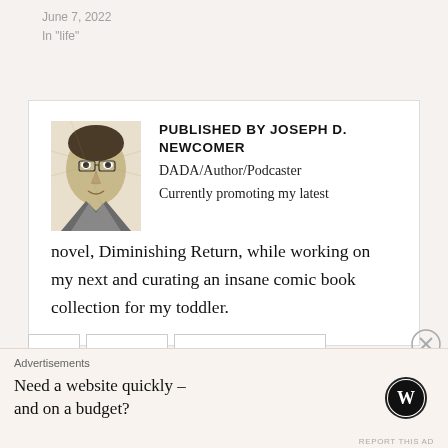June 7, 2022
In "life"
[Figure (other): Author bio card with portrait illustration of Joseph D. Newcomer. Published by JOSEPH D. NEWCOMER. DADA/Author/Podcaster. Currently promoting my latest novel, Diminishing Return, while working on my next and curating an insane comic book collection for my toddler.]
Advertisements
Need a website quickly – and on a budget?